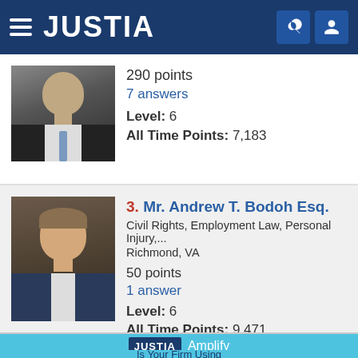JUSTIA
290 points
7 answers
Level: 6
All Time Points: 7,183
3. Mr. Andrew T. Bodoh Esq.
Civil Rights, Employment Law, Personal Injury,...
Richmond, VA
50 points
1 answer
Level: 6
All Time Points: 9,471
[Figure (photo): JUSTIA Amplify banner with logo and 'Is Your Firm Using' text]